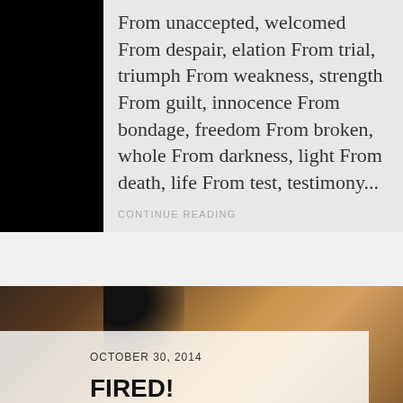From unaccepted, welcomed From despair, elation From trial, triumph From weakness, strength From guilt, innocence From bondage, freedom From broken, whole From darkness, light From death, life From test, testimony...
CONTINUE READING
[Figure (photo): Close-up photo of a person with blonde hair, partially obscured, with a dark corner in the upper left]
OCTOBER 30, 2014
FIRED!